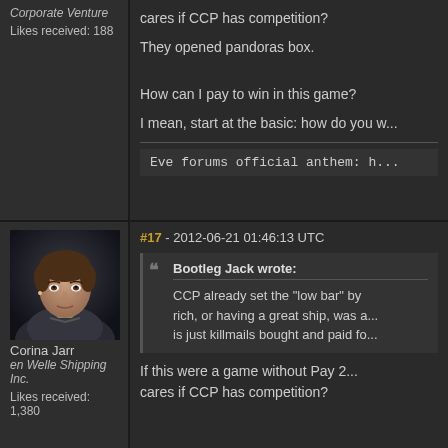Corporate Venture
Likes received: 188
cares if CCP has competition?
They opened pandoras box.
How can I pay to win in this game?
I mean, start at the basic: how do you w...
Eve forums official anthem: h...
[Figure (photo): Forum avatar portrait of Corina Jarr, a female character with short brown hair and grey suit]
Corina Jarr
en Welle Shipping Inc.
Likes received: 1,380
#17 - 2012-06-21 01:46:13 UTC
Bootleg Jack wrote:
CCP already set the "low bar" by rich, or having a great ship, was a... is just killmails bought and paid fo...
If this were a game without Pay 2... cares if CCP has competition?